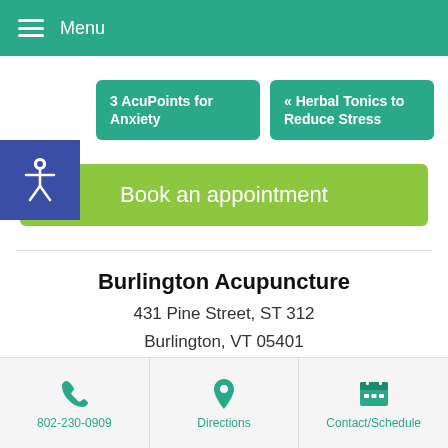Menu
3 AcuPoints for Anxiety
« Herbal Tonics to Reduce Stress
Book an appointment
Burlington Acupuncture
431 Pine Street, ST 312
Burlington, VT 05401
802-230-0909
802-230-0909 | Directions | Contact/Schedule